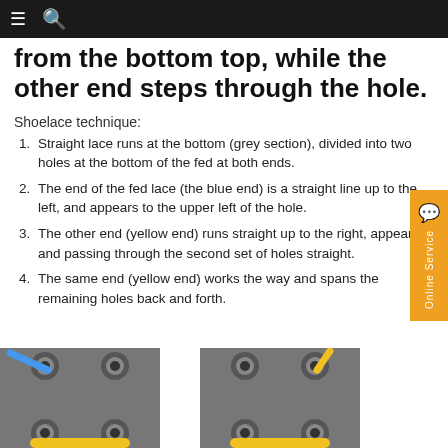≡ 🔍
from the bottom top, while the other end steps through the hole.
Shoelace technique:
Straight lace runs at the bottom (grey section), divided into two holes at the bottom of the fed at both ends.
The end of the fed lace (the blue end) is a straight line up to the left, and appears to the upper left of the hole.
The other end (yellow end) runs straight up to the right, appearing and passing through the second set of holes straight.
The same end (yellow end) works the way and spans the remaining holes back and forth.
[Figure (illustration): Two shoelace diagrams side by side showing grey shoe panels with eyelets. Left panel shows a blue lace threading diagonally through a top eyelet. Right panel shows a yellow lace threading through eyelets. Both panels show yellow lace at the bottom connecting the two panels.]